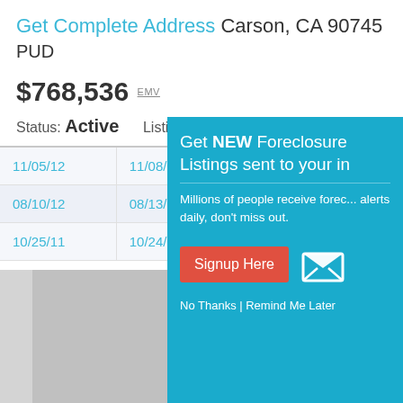Get Complete Address Carson, CA 90745 PUD
$768,536 EMV
Status: Active   Listing ID: 57631552
| Date1 | Date2 | Type |
| --- | --- | --- |
| 11/05/12 | 11/08/12 | Preforeclosure |
| 08/10/12 | 08/13/12 | Preforeclosure |
| 10/25/11 | 10/24/12 | Bankruptcy |
[Figure (screenshot): Popup overlay: 'Get NEW Foreclosure Listings sent to your inbox'. Millions of people receive foreclosure alerts daily, don't miss out. Signup Here button. No Thanks | Remind Me Later links.]